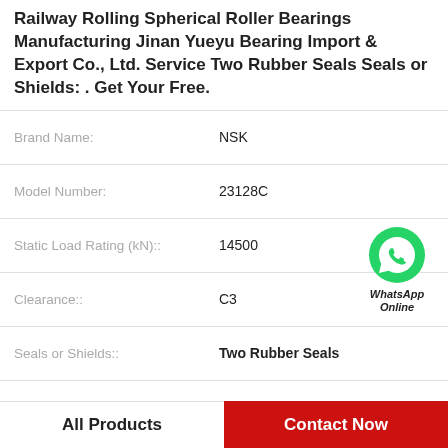Railway Rolling Spherical Roller Bearings Manufacturing Jinan Yueyu Bearing Import & Export Co., Ltd. Service Two Rubber Seals Seals or Shields: . Get Your Free.
| Property | Value |
| --- | --- |
| Brand Name: | NSK |
| Model Number: | 23128C |
| Static Load Rating (kN):: | 14500 |
| Clearance:: | C3 |
| Seals or Shields:: | Two Rubber Seals |
| D: | 52mm |
| Dynamic Load Rating (kN):: | 23100 |
All Products
Contact Now